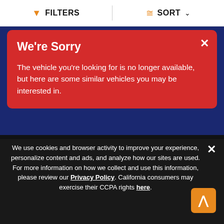FILTERS  SORT
We're Sorry
The vehicle you're looking for is no longer available, but here are some similar vehicles you may be interested in.
Browse Motorcycle Auctions
Sell a Motorcycle
Sell My Motorcycle
Motorcycle Research
Research Motorcycles
Motorcycle Articles
Motorcycle Resources
We use cookies and browser activity to improve your experience, personalize content and ads, and analyze how our sites are used. For more information on how we collect and use this information, please review our Privacy Policy. California consumers may exercise their CCPA rights here.